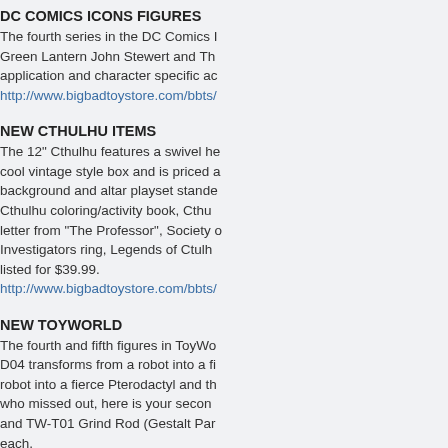DC COMICS ICONS FIGURES
The fourth series in the DC Comics Icons figures features Green Lantern John Stewert and Th... application and character specific ac... http://www.bigbadtoystore.com/bbts/...
NEW CTHULHU ITEMS
The 12" Cthulhu features a swivel he... cool vintage style box and is priced a... background and altar playset stande... Cthulhu coloring/activity book, Cthu... letter from "The Professor", Society o... Investigators ring, Legends of Ctulh... listed for $39.99. http://www.bigbadtoystore.com/bbts/...
NEW TOYWORLD
The fourth and fifth figures in ToyWo... D04 transforms from a robot into a fi... robot into a fierce Pterodactyl and th... who missed out, here is your secon... and TW-T01 Grind Rod (Gestalt Par... each.